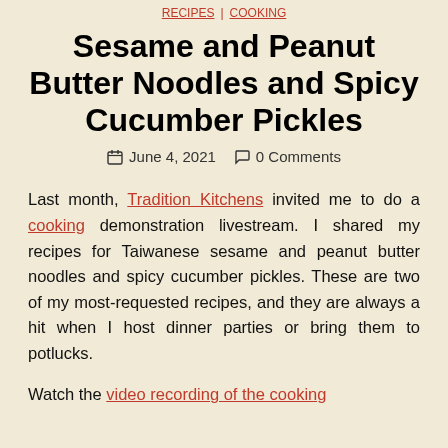RECIPES | COOKING
Sesame and Peanut Butter Noodles and Spicy Cucumber Pickles
June 4, 2021   0 Comments
Last month, Tradition Kitchens invited me to do a cooking demonstration livestream. I shared my recipes for Taiwanese sesame and peanut butter noodles and spicy cucumber pickles. These are two of my most-requested recipes, and they are always a hit when I host dinner parties or bring them to potlucks.
Watch the video recording of the cooking